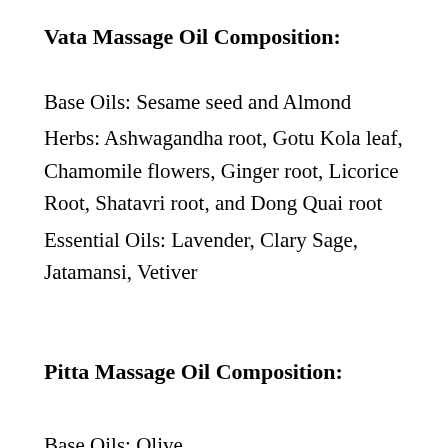Vata Massage Oil Composition:
Base Oils: Sesame seed and Almond
Herbs: Ashwagandha root, Gotu Kola leaf, Chamomile flowers, Ginger root, Licorice Root, Shatavri root, and Dong Quai root
Essential Oils: Lavender, Clary Sage, Jatamansi, Vetiver
Pitta Massage Oil Composition:
Base Oils: Olive